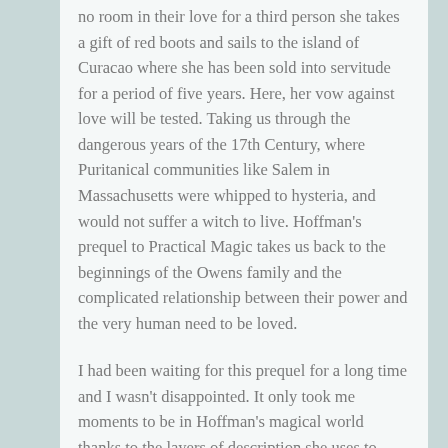no room in their love for a third person she takes a gift of red boots and sails to the island of Curacao where she has been sold into servitude for a period of five years. Here, her vow against love will be tested. Taking us through the dangerous years of the 17th Century, where Puritanical communities like Salem in Massachusetts were whipped to hysteria, and would not suffer a witch to live. Hoffman's prequel to Practical Magic takes us back to the beginnings of the Owens family and the complicated relationship between their power and the very human need to be loved.
I had been waiting for this prequel for a long time and I wasn't disappointed. It only took me moments to be in Hoffman's magical world thanks to the layers of description she uses to create an unusual atmosphere. In some senses she creates an instantly recognisable